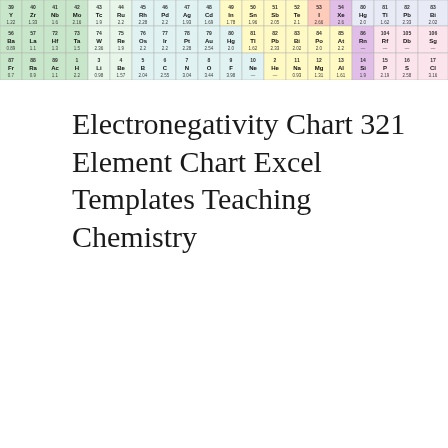[Figure (table-as-image): Partial periodic table of elements shown as a colorful grid, cropped to show approximately 3 rows of elements with colored cells (light green, light teal, light yellow, white backgrounds). Element symbols and atomic numbers visible.]
Electronegativity Chart 321 Element Chart Excel Templates Teaching Chemistry